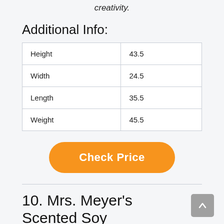creativity.
Additional Info:
| Height | 43.5 |
| Width | 24.5 |
| Length | 35.5 |
| Weight | 45.5 |
[Figure (other): Orange rounded rectangle button with white bold text reading 'Check Price']
10. Mrs. Meyer's Scented Soy